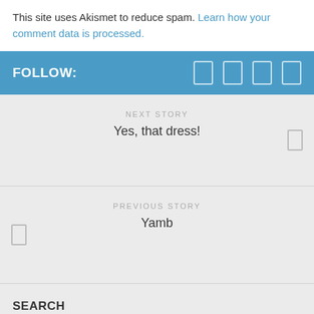This site uses Akismet to reduce spam. Learn how your comment data is processed.
FOLLOW:
NEXT STORY
Yes, that dress!
PREVIOUS STORY
Yamb
SEARCH
To search type and hit enter